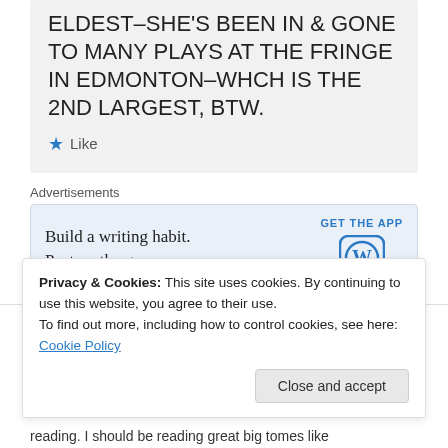ELDEST–SHE'S BEEN IN & GONE TO MANY PLAYS AT THE FRINGE IN EDMONTON–WHCH IS THE 2ND LARGEST, BTW.
★ Like
Advertisements
[Figure (infographic): WordPress app advertisement: 'Build a writing habit. Post on the go.' with GET THE APP button and WordPress logo]
kneillbc on June 25, 2014 at 9:07 pm
Privacy & Cookies: This site uses cookies. By continuing to use this website, you agree to their use.
To find out more, including how to control cookies, see here: Cookie Policy
Close and accept
reading. I should be reading great big tomes like